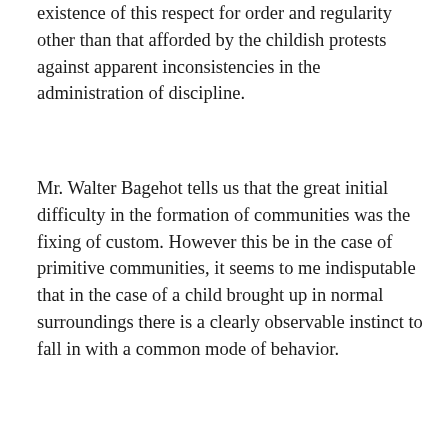existence of this respect for order and regularity other than that afforded by the childish protests against apparent inconsistencies in the administration of discipline.
Mr. Walter Bagehot tells us that the great initial difficulty in the formation of communities was the fixing of custom. However this be in the case of primitive communities, it seems to me indisputable that in the case of a child brought up in normal surroundings there is a clearly observable instinct to fall in with a common mode of behavior.
This respect for custom is related to the imitative instincts of the child. He does what he sees others do, and so tends to fall in with their manner of life. We all know that these small people take their cue from their elders as to what is allowable. Hence, one difficulty of moral training. A little boy when two years and one month old had